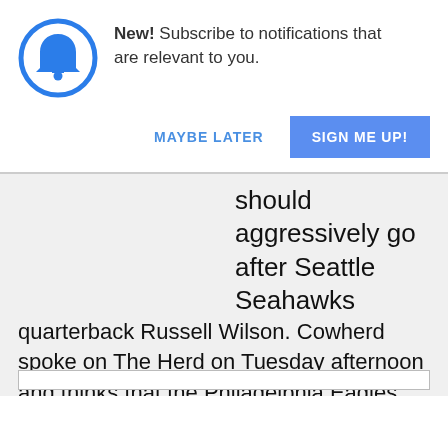[Figure (illustration): Blue bell icon inside a blue circle outline, representing notifications]
New! Subscribe to notifications that are relevant to you.
MAYBE LATER
SIGN ME UP!
should aggressively go after Seattle Seahawks quarterback Russell Wilson. Cowherd spoke on The Herd on Tuesday afternoon and thinks that the Philadelphia Eagles should make a big push for him. “If I ran the Eagles, I would give Seattle all my picks in the first round, [...]